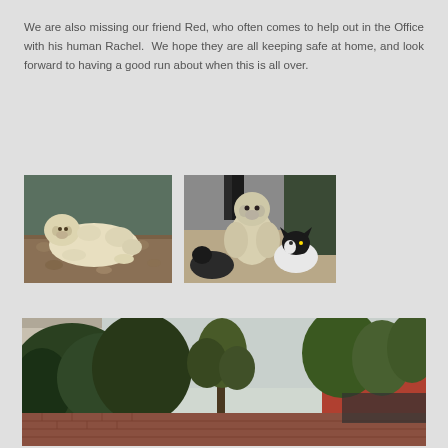We are also missing our friend Red, who often comes to help out in the Office with his human Rachel. We hope they are all keeping safe at home, and look forward to having a good run about when this is all over.
[Figure (photo): A large fluffy cream/white dog lying on a patterned floor in what appears to be an office or lobby setting.]
[Figure (photo): A fluffy white/cream dog sitting upright, with a dark Labrador lying in front and a black-and-white cat also visible, appearing to be in an office environment.]
[Figure (photo): An outdoor garden or courtyard view showing dense green trees and shrubbery, a brick wall, and buildings in the background under a pale sky.]